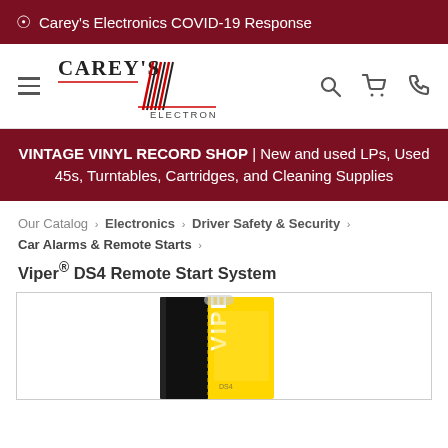🌐 Carey's Electronics COVID-19 Response
[Figure (logo): Carey's Electronics logo with stylized slash/waveform graphic and text 'CAREY'S ELECTRONICS']
VINTAGE VINYL RECORD SHOP | New and used LPs, Used 45s, Turntables, Cartridges, and Cleaning Supplies
Our Catalog › Electronics › Driver Safety & Security › Car Alarms & Remote Starts ›
Viper® DS4 Remote Start System
[Figure (photo): Viper DS4 Remote Start System product box — yellow and black packaging with 'VIPER' text visible, partially cropped]